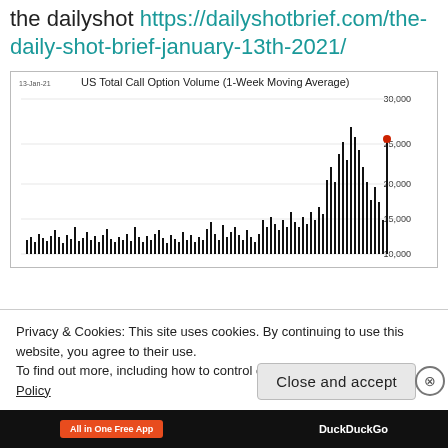the dailyshot https://dailyshotbrief.com/the-daily-shot-brief-january-13th-2021/
[Figure (continuous-plot): A time-series bar/line chart showing US Total Call Option Volume (1-Week Moving Average). Values range from approximately 10,000 to 30,000, with a sharp spike reaching ~26,000 near the far right (Jan 12, 2021), marked with a red dot. The chart shows dramatic increase in recent months.]
Privacy & Cookies: This site uses cookies. By continuing to use this website, you agree to their use. To find out more, including how to control cookies, see here: Cookie Policy